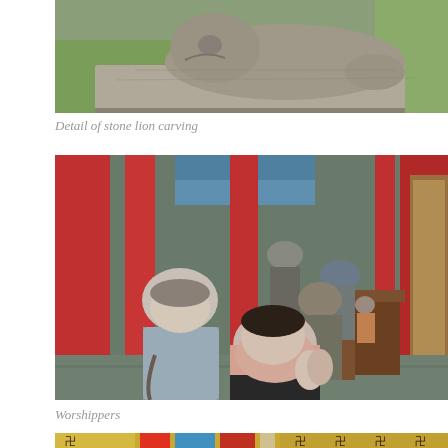[Figure (photo): Close-up detail of a stone lion carving, showing textured grey stone sculpture against a green background]
Detail of stone lion carving
[Figure (photo): People worshipping at a Chinese temple with red columns. In the foreground, a young woman and an older man bow with hands pressed together in prayer. Red pillars and ornate wooden furniture visible in background.]
Worshippers
[Figure (photo): Partial view of decorative Chinese temple architecture with yellow, blue, red and black ornamental patterns]